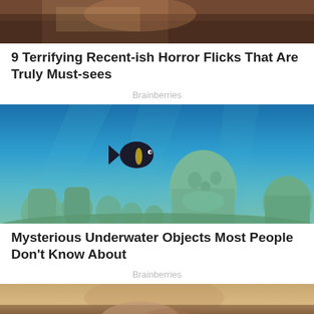[Figure (photo): Top portion of a photo, appears to show a person with reddish/brown hair from behind]
9 Terrifying Recent-ish Horror Flicks That Are Truly Must-sees
Brainberries
[Figure (photo): Underwater photo showing green/teal stone statues of human figures with a dark tropical fish swimming above them against a blue ocean background]
Mysterious Underwater Objects Most People Don't Know About
Brainberries
[Figure (photo): Bottom portion of a photo showing a person, partial view]